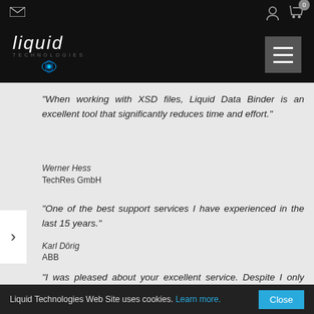[Figure (logo): Liquid Technologies logo with stylized italic text and blue glowing dot, on black background, with hamburger menu button]
"When working with XSD files, Liquid Data Binder is an excellent tool that significantly reduces time and effort."
Werner Hess
TechRes GmbH
"One of the best support services I have experienced in the last 15 years."
Karl Dörig
ABB
"I was pleased about your excellent service. Despite I only evaluate your product, I got a very fast response to my
Liquid Technologies Web Site uses cookies. Learn more. Close